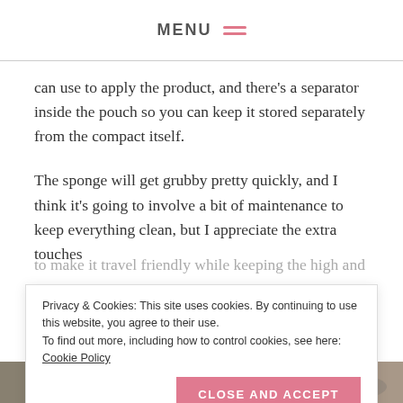MENU
can use to apply the product, and there’s a separator inside the pouch so you can keep it stored separately from the compact itself.
The sponge will get grubby pretty quickly, and I think it’s going to involve a bit of maintenance to keep everything clean, but I appreciate the extra touches to make it travel friendly while keeping the high and
Privacy & Cookies: This site uses cookies. By continuing to use this website, you agree to their use. To find out more, including how to control cookies, see here: Cookie Policy
[Figure (photo): Bottom strip showing a partial image of makeup products]